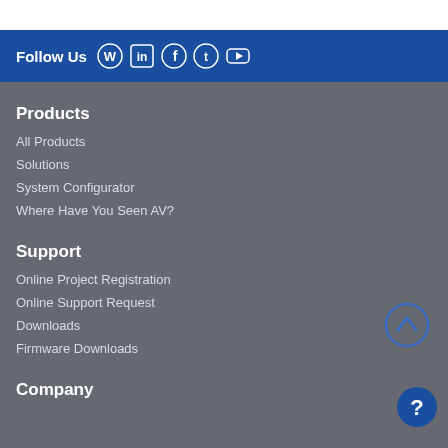Follow Us
Products
All Products
Solutions
System Configurator
Where Have You Seen AV?
Support
Online Project Registration
Online Support Request
Downloads
Firmware Downloads
Company
[Figure (illustration): Back to top arrow button (circle with up chevron)]
[Figure (illustration): Help button (circle with question mark)]